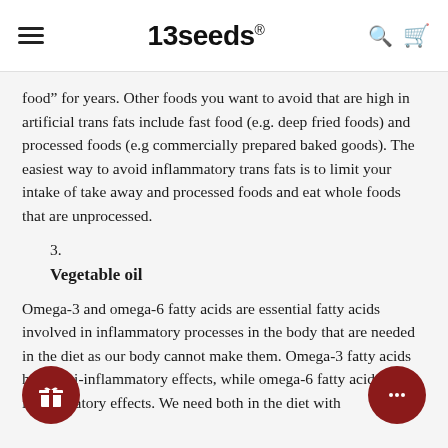13seeds®
food” for years. Other foods you want to avoid that are high in artificial trans fats include fast food (e.g. deep fried foods) and processed foods (e.g commercially prepared baked goods). The easiest way to avoid inflammatory trans fats is to limit your intake of take away and processed foods and eat whole foods that are unprocessed.
3.
Vegetable oil
Omega-3 and omega-6 fatty acids are essential fatty acids involved in inflammatory processes in the body that are needed in the diet as our body cannot make them. Omega-3 fatty acids have anti-inflammatory effects, while omega-6 fatty acids have inflammatory effects. We need both in the diet with